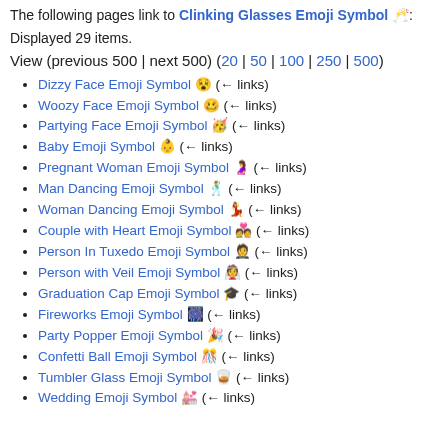The following pages link to Clinking Glasses Emoji Symbol 🥂:
Displayed 29 items.
View (previous 500 | next 500) (20 | 50 | 100 | 250 | 500)
Dizzy Face Emoji Symbol 😵 ( ← links)
Woozy Face Emoji Symbol 🥴 ( ← links)
Partying Face Emoji Symbol 🥳 ( ← links)
Baby Emoji Symbol 👶 ( ← links)
Pregnant Woman Emoji Symbol 🤰 ( ← links)
Man Dancing Emoji Symbol 🕺 ( ← links)
Woman Dancing Emoji Symbol 💃 ( ← links)
Couple with Heart Emoji Symbol 💑 ( ← links)
Person In Tuxedo Emoji Symbol 🤵 ( ← links)
Person with Veil Emoji Symbol 👰 ( ← links)
Graduation Cap Emoji Symbol 🎓 ( ← links)
Fireworks Emoji Symbol 🎆 ( ← links)
Party Popper Emoji Symbol 🎉 ( ← links)
Confetti Ball Emoji Symbol 🎊 ( ← links)
Tumbler Glass Emoji Symbol 🥃 ( ← links)
Wedding Emoji Symbol 💒 ( ← links)